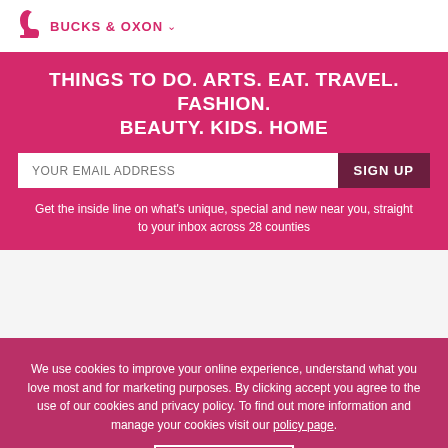BUCKS & OXON
THINGS TO DO. ARTS. EAT. TRAVEL. FASHION. BEAUTY. KIDS. HOME
YOUR EMAIL ADDRESS
SIGN UP
Get the inside line on what's unique, special and new near you, straight to your inbox across 28 counties
We use cookies to improve your online experience, understand what you love most and for marketing purposes. By clicking accept you agree to the use of our cookies and privacy policy. To find out more information and manage your cookies visit our policy page.
I accept!